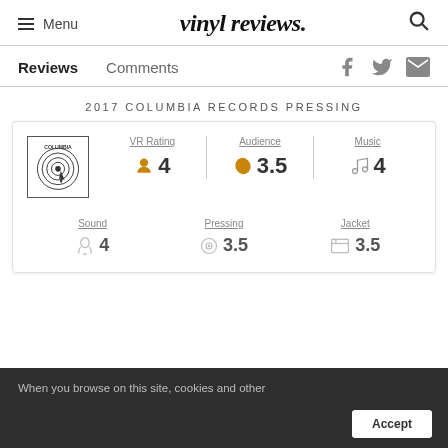≡ Menu   vinyl reviews.   🔍
Reviews   Comments
2017 COLUMBIA RECORDS PRESSING
[Figure (other): Columbia Records label logo — stylized concentric circles with 'COLUMBIA' text and a cursor arrow icon]
VR Rating 4 | Audience 3.5 | Music 4 | Sound 4 | Pressing 3.5 | Jacket 3.5
When you browse on this site, cookies and other